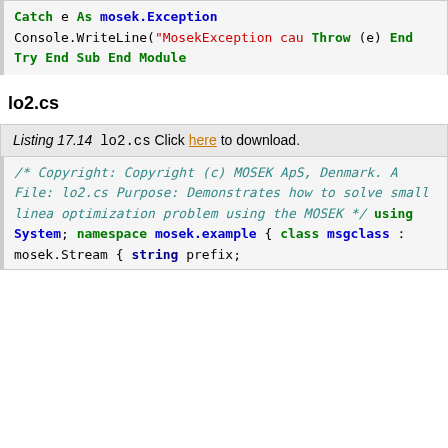[Figure (screenshot): Code block showing end of a VB.NET try-catch block with 'Catch e As mosek.Exception', 'Console.WriteLine("MosekException cau...")', 'Throw (e)', 'End Try', 'End Sub', 'End Module']
lo2.cs
Listing 17.14  lo2.cs Click here to download.
[Figure (screenshot): Code block showing beginning of lo2.cs file with copyright comment, file name, purpose description, using System, namespace mosek.example, class msgclass : mosek.Stream, string prefix;]